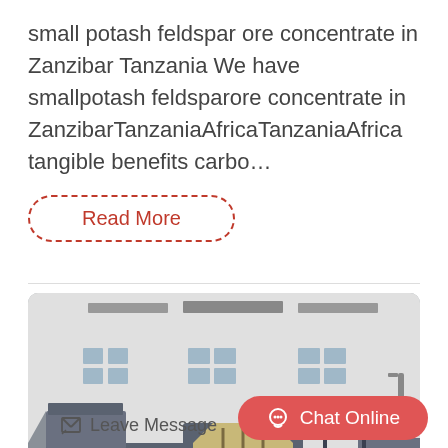small potash feldspar ore concentrate in Zanzibar Tanzania We have smallpotash feldsparore concentrate in ZanzibarTanzaniaAfricaTanzaniaAfrica tangible benefits carbo…
Read More
[Figure (photo): Industrial mobile crushing machine with large beige/grey modular crusher units and conveyor components parked in front of a white industrial building.]
Leave Message
Chat Online